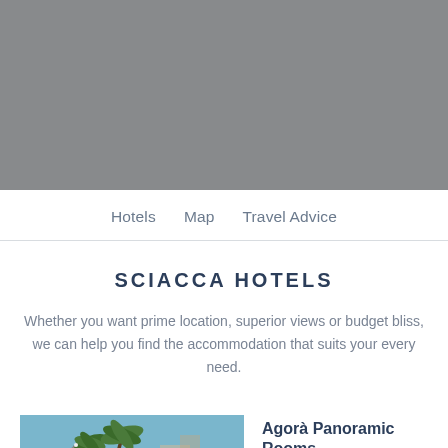[Figure (photo): Hero image of a scenic coastal or landscape view, shown in muted gray tones]
Hotels   Map   Travel Advice
SCIACCA HOTELS
Whether you want prime location, superior views or budget bliss, we can help you find the accommodation that suits your every need.
[Figure (photo): Outdoor photo showing palm trees and sea in the background, coastal location in Sciacca]
Agorà Panoramic Rooms
SCIACCA